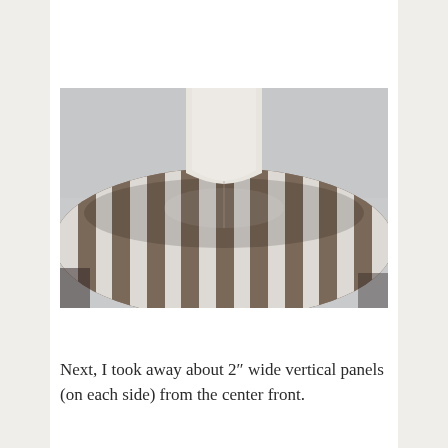[Figure (photo): Close-up photograph of a dressmaking mannequin/dress form wearing a brown and white striped fabric draped over the shoulder area, viewed from above/front. The white mannequin neck is visible at the top center, and the striped fabric wraps around the shoulder in a curved shape.]
Next, I took away about 2″ wide vertical panels (on each side) from the center front.